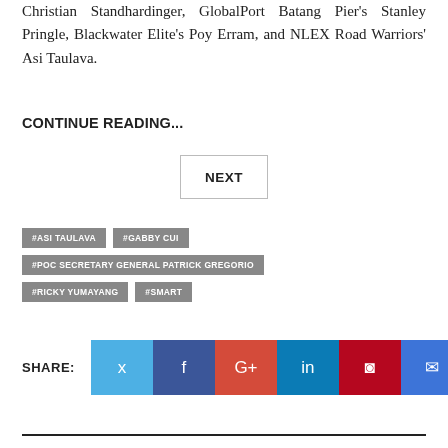Christian Standhardinger, GlobalPort Batang Pier's Stanley Pringle, Blackwater Elite's Poy Erram, and NLEX Road Warriors' Asi Taulava.
CONTINUE READING...
NEXT
#ASI TAULAVA
#GABBY CUI
#POC SECRETARY GENERAL PATRICK GREGORIO
#RICKY YUMAYANG
#SMART
[Figure (infographic): Social share buttons: Twitter (blue), Facebook (dark blue), Google+ (red), LinkedIn (blue), Pinterest (dark red), Email (blue)]